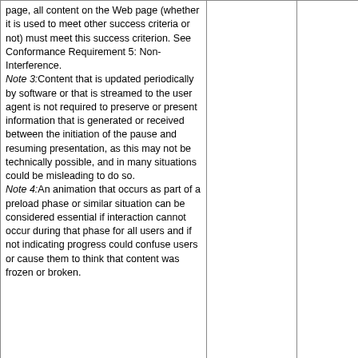| page, all content on the Web page (whether it is used to meet other success criteria or not) must meet this success criterion. See Conformance Requirement 5: Non-Interference.
Note 3:Content that is updated periodically by software or that is streamed to the user agent is not required to preserve or present information that is generated or received between the initiation of the pause and resuming presentation, as this may not be technically possible, and in many situations could be misleading to do so.
Note 4:An animation that occurs as part of a preload phase or similar situation can be considered essential if interaction cannot occur during that phase for all users and if not indicating progress could confuse users or cause them to think that content was frozen or broken. |  |  |
| 2.3.1 Three Flashes or Below Threshold: Web pages do not contain anything that flashes more than three times in any one second period, or the flash is below the general flash and red flash thresholds. | Product has... | The product was tested for: |